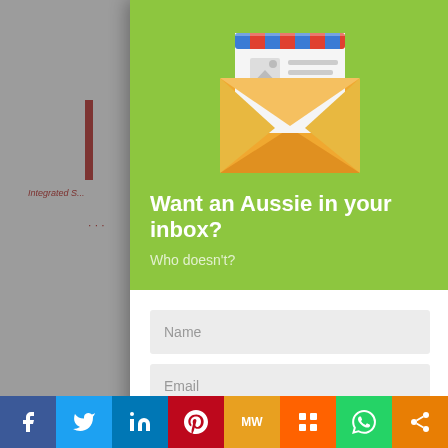[Figure (screenshot): Email subscription modal popup overlaying a webpage. The modal has a green header with an envelope illustration and the text 'Want an Aussie in your inbox?' and 'Who doesn't?'. Below is a white form section with Name and Email input fields and a SIGNUP button. The background page shows partial content including a Facebook share icon and 'Spread' text. A social sharing toolbar is at the bottom with Facebook, Twitter, LinkedIn, Pinterest, MW, Mix, WhatsApp and share icons.]